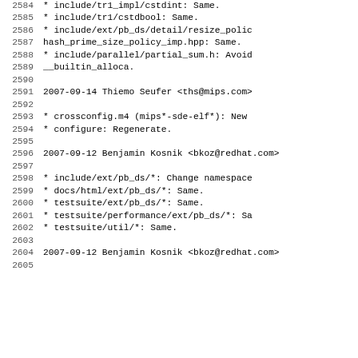2584     * include/tr1_impl/cstdint: Same.
2585     * include/tr1/cstdbool: Same.
2586     * include/ext/pb_ds/detail/resize_polic
2587     hash_prime_size_policy_imp.hpp: Same.
2588     * include/parallel/partial_sum.h: Avoid
2589     __builtin_alloca.
2590
2591  2007-09-14  Thiemo Seufer  <ths@mips.com>
2592
2593     * crossconfig.m4 (mips*-sde-elf*): New
2594     * configure: Regenerate.
2595
2596  2007-09-12  Benjamin Kosnik  <bkoz@redhat.com>
2597
2598     * include/ext/pb_ds/*: Change namespace
2599     * docs/html/ext/pb_ds/*: Same.
2600     * testsuite/ext/pb_ds/*: Same.
2601     * testsuite/performance/ext/pb_ds/*: Sa
2602     * testsuite/util/*: Same.
2603
2604  2007-09-12  Benjamin Kosnik  <bkoz@redhat.com>
2605